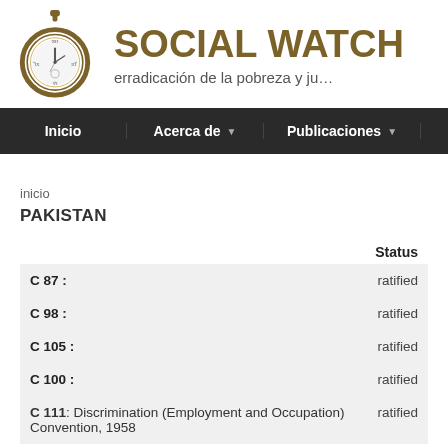[Figure (logo): Social Watch logo: pocket watch illustration in brown/gold color]
SOCIAL WATCH
erradicación de la pobreza y ju…
Inicio | Acerca de | Publicaciones | Notic…
inicio
PAKISTAN
|  | Status |
| --- | --- |
| C 87 : | ratified |
| C 98 : | ratified |
| C 105 : | ratified |
| C 100 : | ratified |
| C 111: Discrimination (Employment and Occupation) Convention, 1958 | ratified |